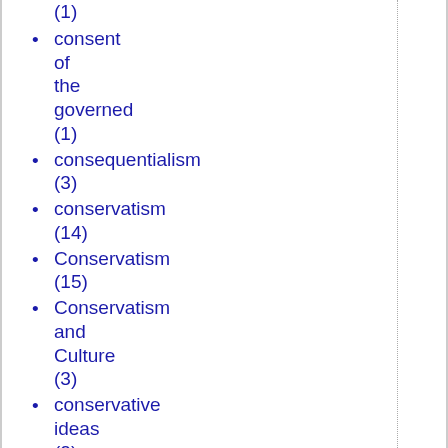(1)
consent of the governed (1)
consequentialism (3)
conservatism (14)
Conservatism (15)
Conservatism and Culture (3)
conservative ideas (2)
Conservatives (7)
Conservativism in America (1)